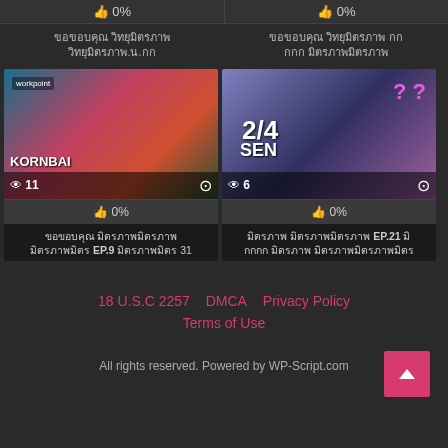👍 0%  |  👍 0%
Thai text title 1
Thai text title 2
[Figure (screenshot): Video thumbnail left: colorful TV show scene with KORNBAI branding, view count 11]
[Figure (screenshot): Video thumbnail right: TV show with 2/4 text overlay and silhouette, view count 6]
👍 0%
👍 0%
Thai text video title EP.9 31
Thai text video title EP.21
18 U.S.C 2257   DMCA   Privacy Policy   Terms of Use   All rights reserved. Powered by WP-Script.com